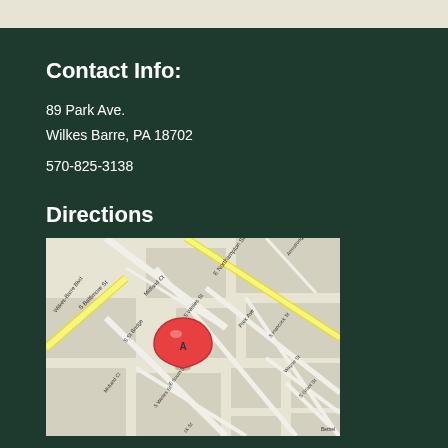Contact Info:
89 Park Ave.
Wilkes Barre, PA 18702
570-825-3138
Directions
[Figure (map): Street map showing location A at 89 Park Ave, Wilkes Barre PA, with surrounding streets including S Baltimore St, Midland Ct, E Northampton St, S Welles St, Park Ave, S Hancock St, Wayne St, S Grant St, S St Bridge, Wilkes-Barre Blvd marked with yellow highlight on main roads and a red pin marker at location A.]